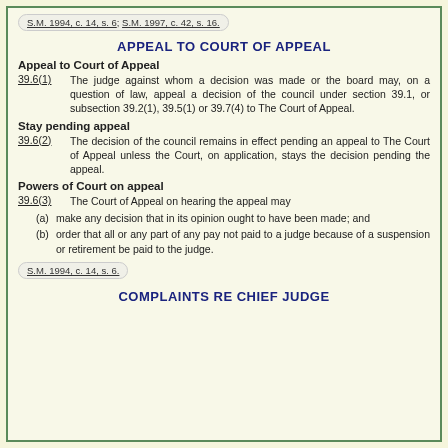S.M. 1994, c. 14, s. 6; S.M. 1997, c. 42, s. 16.
APPEAL TO COURT OF APPEAL
Appeal to Court of Appeal
39.6(1)    The judge against whom a decision was made or the board may, on a question of law, appeal a decision of the council under section 39.1, or subsection 39.2(1), 39.5(1) or 39.7(4) to The Court of Appeal.
Stay pending appeal
39.6(2)    The decision of the council remains in effect pending an appeal to The Court of Appeal unless the Court, on application, stays the decision pending the appeal.
Powers of Court on appeal
39.6(3)    The Court of Appeal on hearing the appeal may
(a) make any decision that in its opinion ought to have been made; and
(b) order that all or any part of any pay not paid to a judge because of a suspension or retirement be paid to the judge.
S.M. 1994, c. 14, s. 6.
COMPLAINTS RE CHIEF JUDGE